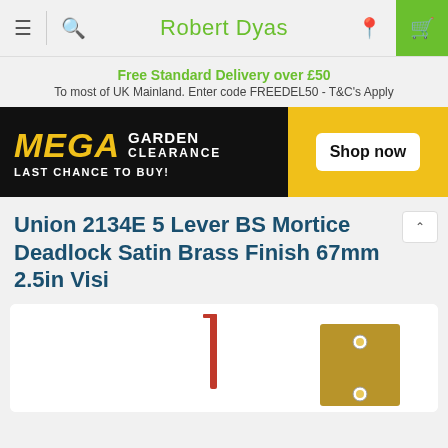Robert Dyas
Free Standard Delivery over £50
To most of UK Mainland. Enter code FREEDEL50 - T&C's Apply
[Figure (infographic): MEGA GARDEN CLEARANCE banner - black and yellow background with 'MEGA GARDEN CLEARANCE LAST CHANCE TO BUY!' text and 'Shop now' button]
Union 2134E 5 Lever BS Mortice Deadlock Satin Brass Finish 67mm 2.5in Visi
[Figure (photo): Product image of Union 2134E 5 Lever BS Mortice Deadlock showing a red key and a satin brass strike plate/faceplate]